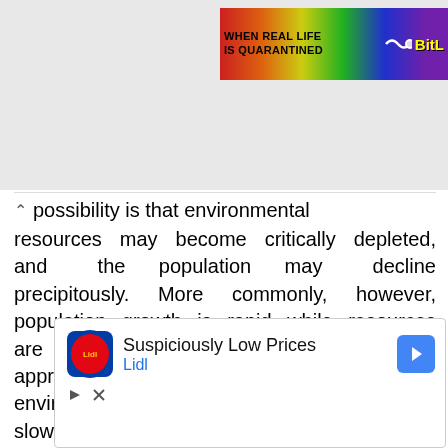[Figure (screenshot): Top banner advertisement: rainbow gradient background with text 'WHEN REAL LIFE IS QUARANTINED' and 'BitL' logo in yellow]
possibility is that environmental resources may become critically depleted, and the population may decline precipitously. More commonly, however, population growth is rapid while resources are plentiful. But as the population size approaches the carrying capacity of its environment, growth becomes slower and slower due to environmental pressures such as limited resources or accumulating
[Figure (screenshot): Lidl advertisement: 'Suspiciously Low Prices' with Lidl logo and blue directional arrow icon]